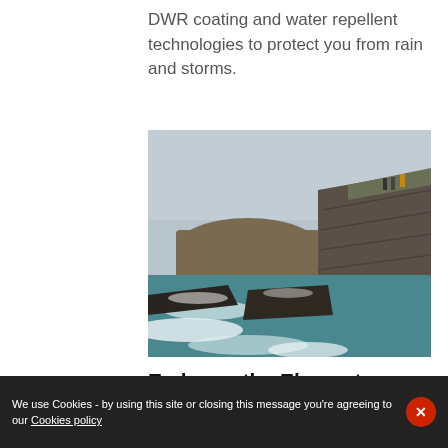DWR coating and water repellent technologies to protect you from rain and storms.
[Figure (photo): Aerial/drone view of rugged coastal cliffs with dark layered rock formations and crashing turquoise waves below. Three hikers in outdoor gear stand on the cliff top in the upper right. The scene is overcast and moody.]
Embrace the Elements
We use Cookies - by using this site or closing this message you're agreeing to our Cookies policy